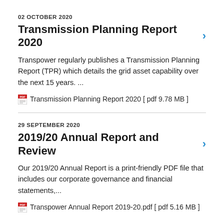02 OCTOBER 2020
Transmission Planning Report 2020 >
Transpower regularly publishes a Transmission Planning Report (TPR) which details the grid asset capability over the next 15 years. ...
Transmission Planning Report 2020 [ pdf 9.78 MB ]
29 SEPTEMBER 2020
2019/20 Annual Report and Review >
Our 2019/20 Annual Report is a print-friendly PDF file that includes our corporate governance and financial statements,...
Transpower Annual Report 2019-20.pdf [ pdf 5.16 MB ]